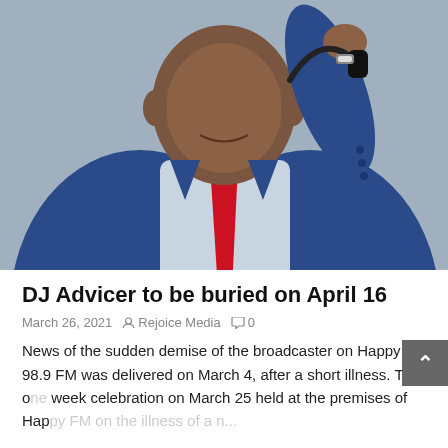[Figure (photo): A man in a blue suit and red tie holding a headset to his ear, photographed against a grey background. Appears to be a radio broadcaster or DJ.]
DJ Advicer to be buried on April 16
March 26, 2021  Rejoice Media  0
News of the sudden demise of the broadcaster on Happy 98.9 FM was delivered on March 4, after a short illness. The one week celebration on March 25 held at the premises of Happy FM on the illness of a near Please ...to read After...